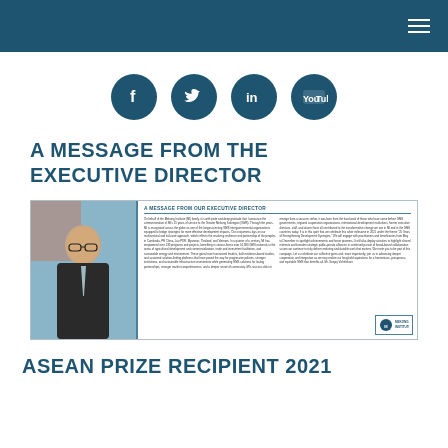Navigation header bar with hamburger menu
[Figure (infographic): Four social media icons (Facebook, Twitter, LinkedIn, YouTube) as dark blue circles in a row]
A MESSAGE FROM THE EXECUTIVE DIRECTOR
[Figure (screenshot): Newsletter page excerpt showing 'A MESSAGE FROM OUR EXECUTIVE DIRECTOR' with a photo of a man in a suit and glasses on the left and text columns on the right, with Mekong Institute logo at bottom right]
ASEAN PRIZE RECIPIENT 2021